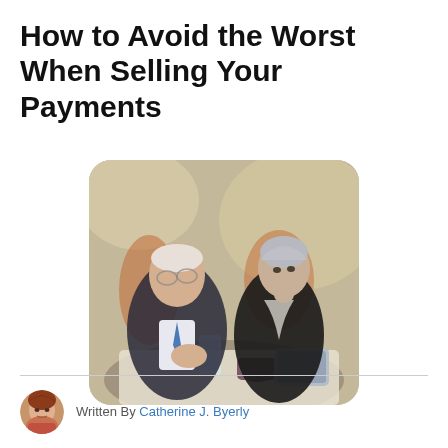How to Avoid the Worst When Selling Your Payments
[Figure (photo): Two people seated at a table in conversation — an older man in a dark suit with a blue tie gesturing with his hands holding a glass, and a younger woman with short silver-grey hair resting her chin on her hand, looking thoughtful. A tablet device and a coffee mug are on the table.]
[Figure (photo): Small circular headshot of a woman with auburn/red hair, the article author Catherine J. Byerly.]
Written By Catherine J. Byerly